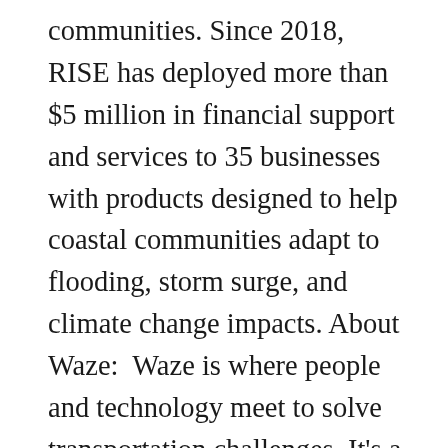communities. Since 2018, RISE has deployed more than $5 million in financial support and services to 35 businesses with products designed to help coastal communities adapt to flooding, storm surge, and climate change impacts. About Waze:  Waze is where people and technology meet to solve transportation challenges. It's a platform that empowers communities to contribute road data, edit Waze maps, and carpool to improve the way we move about the world. Thanks to Wazers everywhere, Waze is able to partner with municipalities and transit authorities to reduce traffic and congestion